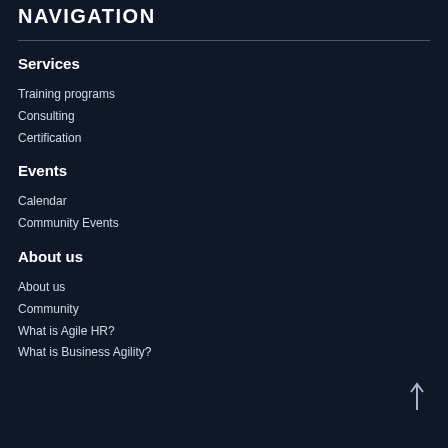NAVIGATION
Services
Training programs
Consulting
Certification
Events
Calendar
Community Events
About us
About us
Community
What is Agile HR?
What is Business Agility?